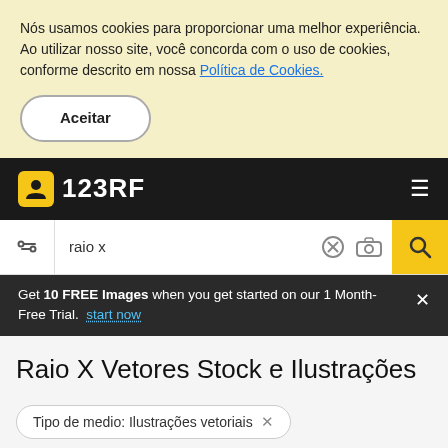Nós usamos cookies para proporcionar uma melhor experiência. Ao utilizar nosso site, você concorda com o uso de cookies, conforme descrito em nossa Política de Cookies.
Aceitar
[Figure (logo): 123RF logo with camera icon on black navigation bar]
raio x
Get 10 FREE Images when you get started on our 1 Month-Free Trial. start now
Raio X Vetores Stock e Ilustrações
Tipo de medio: Ilustrações vetoriais ×